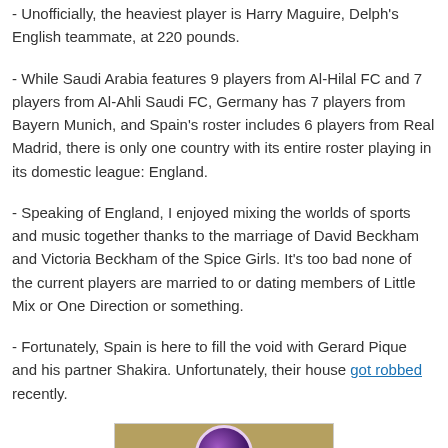- Unofficially, the heaviest player is Harry Maguire, Delph's English teammate, at 220 pounds.
- While Saudi Arabia features 9 players from Al-Hilal FC and 7 players from Al-Ahli Saudi FC, Germany has 7 players from Bayern Munich, and Spain's roster includes 6 players from Real Madrid, there is only one country with its entire roster playing in its domestic league: England.
- Speaking of England, I enjoyed mixing the worlds of sports and music together thanks to the marriage of David Beckham and Victoria Beckham of the Spice Girls. It's too bad none of the current players are married to or dating members of Little Mix or One Direction or something.
- Fortunately, Spain is here to fill the void with Gerard Pique and his partner Shakira. Unfortunately, their house got robbed recently.
[Figure (photo): A circular image showing what appears to be a ball or sports-related object with purple and gold colors, set against a brown/gold background.]